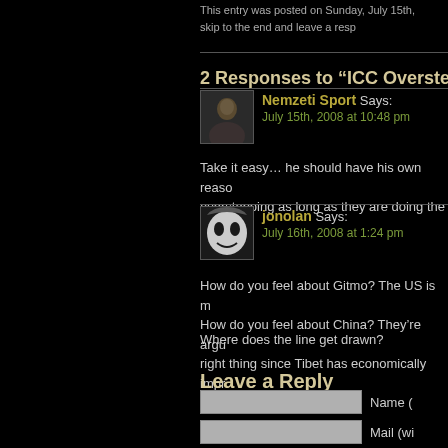This entry was posted on Sunday, July 15th, skip to the end and leave a resp
2 Responses to “ICC Oversteps A
Nemzeti Sport Says: July 15th, 2008 at 10:48 pm
Take it easy… he should have his own reaso overstepping as long as they are doing the ri
jonolan Says: July 16th, 2008 at 1:24 pm
How do you feel about Gitmo? The US is m How do you feel about China? They’re argu right thing since Tibet has economically impr
Where does the line get drawn?
Leave a Reply
Name (
Mail (wi